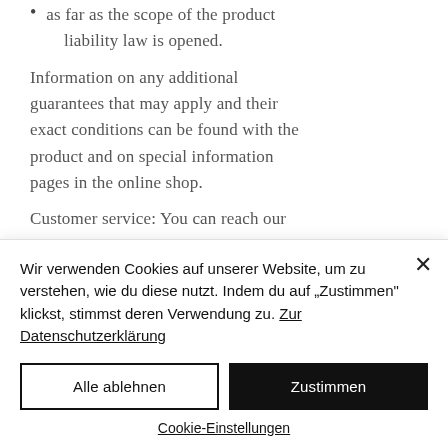as far as the scope of the product liability law is opened.
Information on any additional guarantees that may apply and their exact conditions can be found with the product and on special information pages in the online shop.
Customer service: You can reach our customer service for questions, complaints and complaints by email at
Wir verwenden Cookies auf unserer Website, um zu verstehen, wie du diese nutzt. Indem du auf „Zustimmen" klickst, stimmst deren Verwendung zu. Zur Datenschutzerklärung